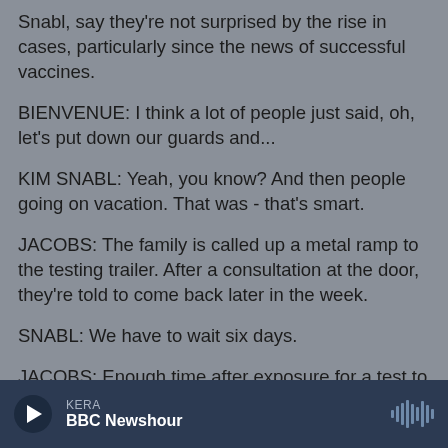Snabl, say they're not surprised by the rise in cases, particularly since the news of successful vaccines.
BIENVENUE: I think a lot of people just said, oh, let's put down our guards and...
KIM SNABL: Yeah, you know? And then people going on vacation. That was - that's smart.
JACOBS: The family is called up a metal ramp to the testing trailer. After a consultation at the door, they're told to come back later in the week.
SNABL: We have to wait six days.
JACOBS: Enough time after exposure for a test to
KERA
BBC Newshour